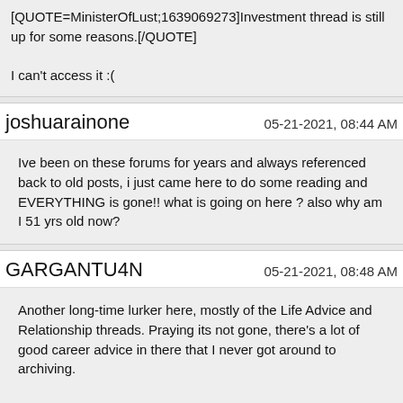[QUOTE=MinisterOfLust;1639069273]Investment thread is still up for some reasons.[/QUOTE]

I can't access it :(
joshuarainone	05-21-2021, 08:44 AM
Ive been on these forums for years and always referenced back to old posts, i just came here to do some reading and EVERYTHING is gone!! what is going on here ? also why am I 51 yrs old now?
GARGANTU4N	05-21-2021, 08:48 AM
Another long-time lurker here, mostly of the Life Advice and Relationship threads. Praying its not gone, there's a lot of good career advice in there that I never got around to archiving.

:(

There has to be some way to at least give us an archive.